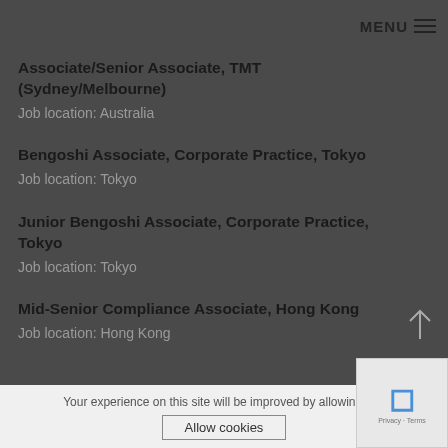MENU
Associate/Senior Associate, TMT (Sydney/Melbourne)
Job location: Australia
Bengoshi Associate, Corporate Practice, Tokyo
Job location: Tokyo
Junior Bengoshi Associate, Corporate Practice, Tokyo
Job location: Tokyo
Mid-Senior Compliance Associate, Hong Kong
Job location: Hong Kong
Your experience on this site will be improved by allowing coo
Allow cookies